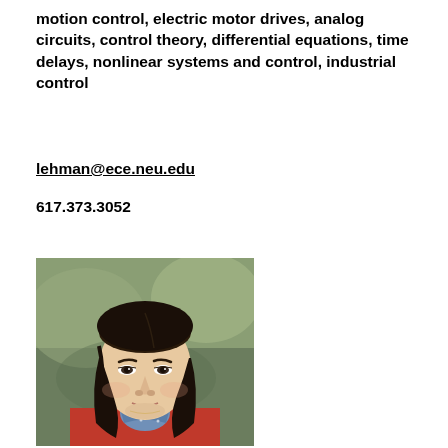motion control, electric motor drives, analog circuits, control theory, differential equations, time delays, nonlinear systems and control, industrial control
lehman@ece.neu.edu
617.373.3052
[Figure (photo): Headshot portrait of an Asian woman with dark shoulder-length hair, wearing a red jacket over a blue patterned shirt, photographed against a blurred outdoor background.]